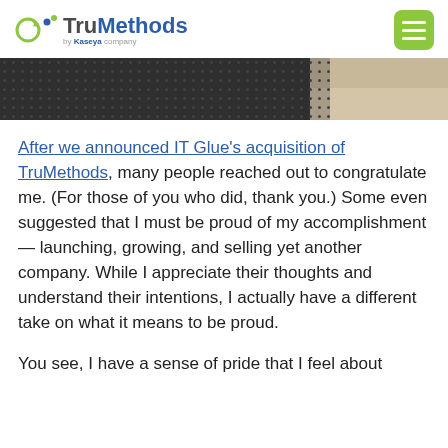TruMethods by Kaseya company
[Figure (photo): Dark metallic textured surface with perforated dots pattern, beige/tan area visible on upper right corner — hero banner image]
After we announced IT Glue's acquisition of TruMethods, many people reached out to congratulate me. (For those of you who did, thank you.) Some even suggested that I must be proud of my accomplishment — launching, growing, and selling yet another company. While I appreciate their thoughts and understand their intentions, I actually have a different take on what it means to be proud.
You see, I have a sense of pride that I feel about